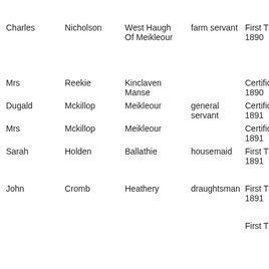| First Name | Last Name | Location | Occupation | Type/Year | Ce... |
| --- | --- | --- | --- | --- | --- |
| Charles | Nicholson | West Haugh Of Meikleour | farm servant | First Time 1890 | 18 |
| Mrs | Reekie | Kinclaven Manse |  | Certificate 1890 |  |
| Dugald | Mckillop | Meikleour | general servant | Certificate 1891 |  |
| Mrs | Mckillop | Meikleour |  | Certificate 1891 |  |
| Sarah | Holden | Ballathie | housemaid | First Time 1891 | 18 |
| John | Cromb | Heathery | draughtsman | First Time 1891 | 18 |
|  |  |  |  | First Time | Ce |